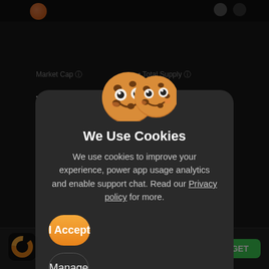[Figure (screenshot): Dark-themed cryptocurrency app background showing Market Cap, Total Supply, Volume, and Circulating Supply labels with values partially visible]
[Figure (illustration): Two cartoon cookie characters with smiling faces, rendered in orange-brown tones]
We Use Cookies
We use cookies to improve your experience, power app usage analytics and enable support chat. Read our Privacy policy for more.
I Accept
Manage